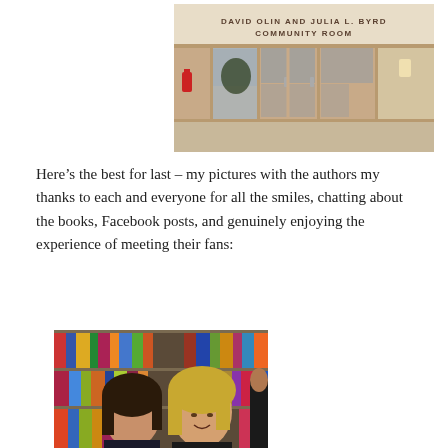[Figure (photo): Interior of a library or community center showing double glass doors with wooden frames. Above the doors on the wall reads 'DAVID OLIN AND JULIA L. BYRD COMMUNITY ROOM'. A fire extinguisher is visible on the left wall.]
Here’s the best for last – my pictures with the authors my thanks to each and everyone for all the smiles, chatting about the books, Facebook posts, and genuinely enjoying the experience of meeting their fans:
[Figure (photo): Two women in front of a bookshelf filled with books. One woman with dark hair is looking down, another with blonde hair is smiling. A third person is partially visible on the right edge.]